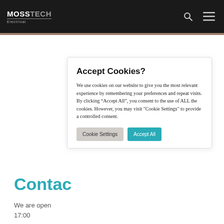MOSSTECH Electrical
Accept Cookies?
We use cookies on our website to give you the most relevant experience by remembering your preferences and repeat visits. By clicking “Accept All”, you consent to the use of ALL the cookies. However, you may visit "Cookie Settings" to provide a controlled consent.
Cookie Settings   Accept All
Contac
We are open
17:00